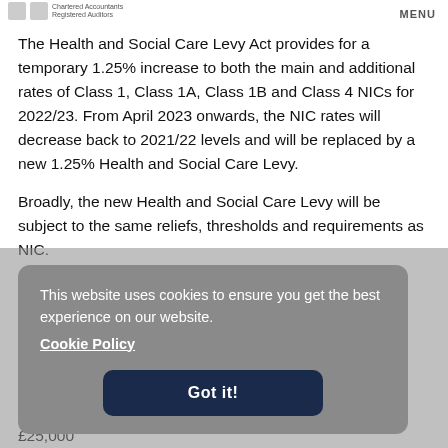MENU
The Health and Social Care Levy Act provides for a temporary 1.25% increase to both the main and additional rates of Class 1, Class 1A, Class 1B and Class 4 NICs for 2022/23. From April 2023 onwards, the NIC rates will decrease back to 2021/22 levels and will be replaced by a new 1.25% Health and Social Care Levy.
Broadly, the new Health and Social Care Levy will be subject to the same reliefs, thresholds and requirements as NIC. However, the levy is not subject to the temporary increase in … State Pension … apply to the age of 25, … yers in … as long as their yearly gross earnings are less than £50,270, or £25,000
This website uses cookies to ensure you get the best experience on our website. Cookie Policy Got it!